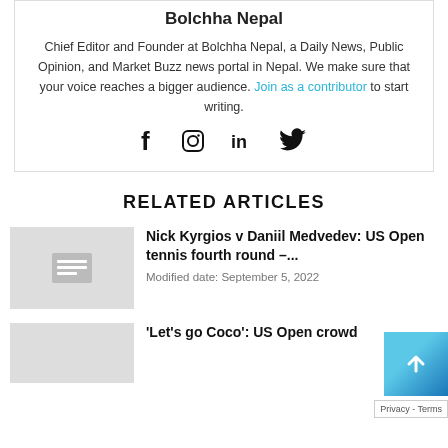Bolchha Nepal
Chief Editor and Founder at Bolchha Nepal, a Daily News, Public Opinion, and Market Buzz news portal in Nepal. We make sure that your voice reaches a bigger audience. Join as a contributor to start writing.
[Figure (other): Social media icons: Facebook, Instagram, LinkedIn, Twitter]
RELATED ARTICLES
Nick Kyrgios v Daniil Medvedev: US Open tennis fourth round –...
Modified date: September 5, 2022
'Let's go Coco': US Open crowd